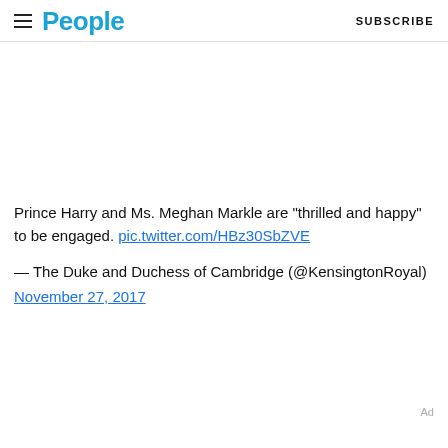People | SUBSCRIBE
Prince Harry and Ms. Meghan Markle are "thrilled and happy" to be engaged. pic.twitter.com/HBz30SbZVE
— The Duke and Duchess of Cambridge (@KensingtonRoyal) November 27, 2017
Ad